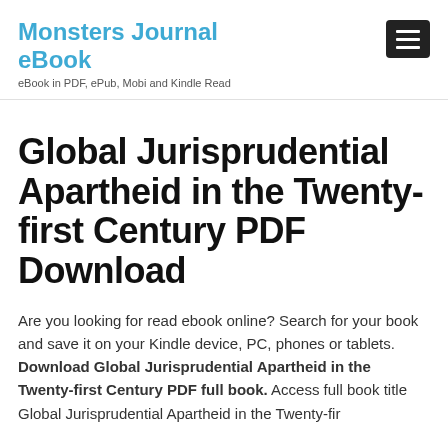Monsters Journal eBook
eBook in PDF, ePub, Mobi and Kindle Read
Global Jurisprudential Apartheid in the Twenty-first Century PDF Download
Are you looking for read ebook online? Search for your book and save it on your Kindle device, PC, phones or tablets. Download Global Jurisprudential Apartheid in the Twenty-first Century PDF full book. Access full book title Global Jurisprudential Apartheid in the Twenty-fir…